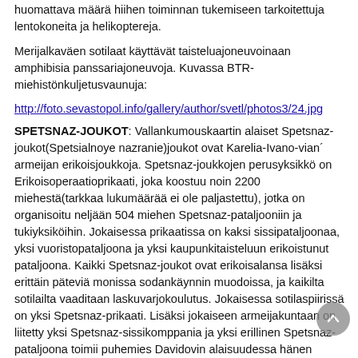huomattava määrä hiihen toiminnan tukemiseen tarkoitettuja lentokoneita ja helikoptereja.
Merijalkaväen sotilaat käyttävät taisteluajoneuvoinaan amphibisia panssariajoneuvoja. Kuvassa BTR-miehistönkuljetusvaunuja:
http://foto.sevastopol.info/gallery/author/svetl/photos3/24.jpg
SPETSNAZ-JOUKOT: Vallankumouskaartin alaiset Spetsnaz-joukot(Spetsialnoye nazranie)joukot ovat Karelia-Ivano-vian´ armeijan erikoisjoukkoja. Spetsnaz-joukkojen perusyksikkö on Erikoisoperaatioprikaati, joka koostuu noin 2200 miehestä(tarkkaa lukumäärää ei ole paljastettu), jotka on organisoitu neljään 504 miehen Spetsnaz-pataljooniin ja tukiyksiköihin. Jokaisessa prikaatissa on kaksi sissipataljoonaa, yksi vuoristopataljoona ja yksi kaupunkitaisteluun erikoistunut pataljoona. Kaikki Spetsnaz-joukot ovat erikoisalansa lisäksi erittäin päteviä monissa sodankäynnin muodoissa, ja kaikilta sotilailta vaaditaan laskuvarjokoulutus. Jokaisessa sotilaspiirissä on yksi Spetsnaz-prikaati. Lisäksi jokaiseen armeijakuntaan on liitetty yksi Spetsnaz-sissikomppania ja yksi erillinen Spetsnaz-pataljoona toimii puhemies Davidovin alaisuudessa hänen henkilökohtaisena iskujoukkonaan.
Lisäksi on kolme Mariupimian Erikoisoperaatiosikatia(3500) jotku...